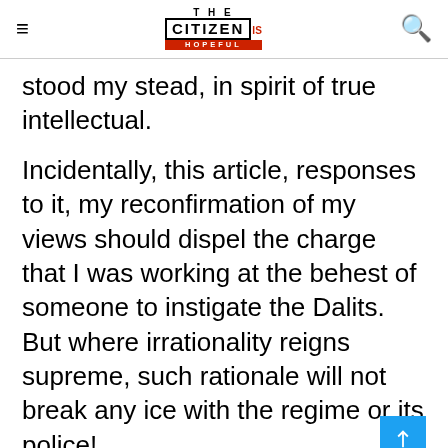THE CITIZEN IS HOPEFUL
stood my stead, in spirit of true intellectual.
Incidentally, this article, responses to it, my reconfirmation of my views should dispel the charge that I was working at the behest of someone to instigate the Dalits. But where irrationality reigns supreme, such rationale will not break any ice with the regime or its police!
More than 250 organizations had joined the organization, some of them belonging to the Marathas, who had never aligned politically with